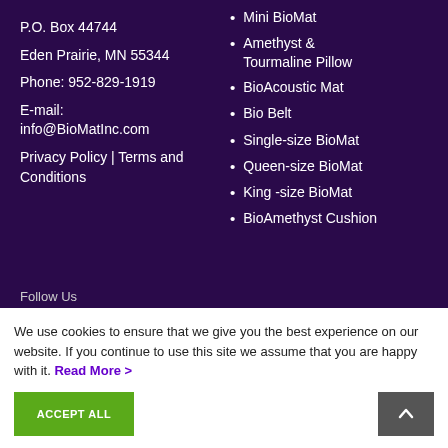P.O. Box 44744
Eden Prairie, MN 55344
Phone: 952-829-1919
E-mail: info@BioMatInc.com
Privacy Policy | Terms and Conditions
Mini BioMat
Amethyst & Tourmaline Pillow
BioAcoustic Mat
Bio Belt
Single-size BioMat
Queen-size BioMat
King -size BioMat
BioAmethyst Cushion
Follow Us
We use cookies to ensure that we give you the best experience on our website. If you continue to use this site we assume that you are happy with it. Read More >